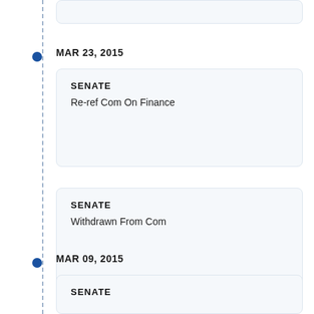MAR 23, 2015
SENATE
Re-ref Com On Finance
SENATE
Withdrawn From Com
MAR 09, 2015
SENATE